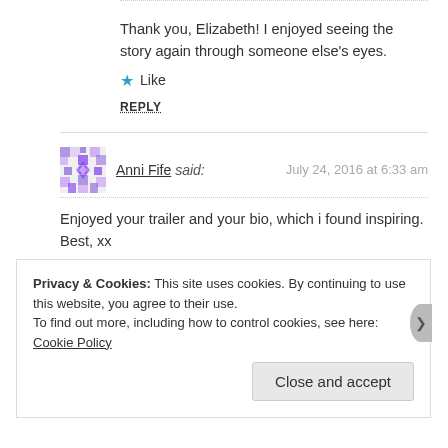Thank you, Elizabeth! I enjoyed seeing the story again through someone else's eyes.
Like
REPLY
Anni Fife said: July 24, 2016 at 6:33 am
Enjoyed your trailer and your bio, which i found inspiring. Best, xx
Like
REPLY
Privacy & Cookies: This site uses cookies. By continuing to use this website, you agree to their use. To find out more, including how to control cookies, see here: Cookie Policy
Close and accept